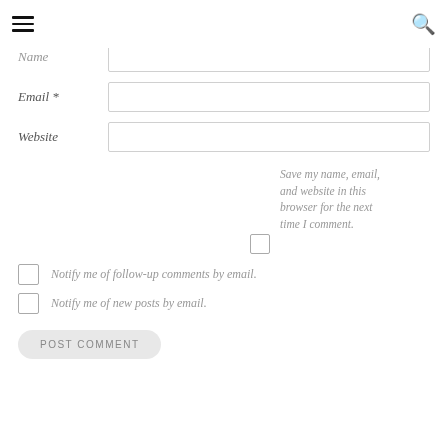≡ (hamburger menu) | 🔍 (search icon)
Name *
Email *
Website
Save my name, email, and website in this browser for the next time I comment.
Notify me of follow-up comments by email.
Notify me of new posts by email.
POST COMMENT